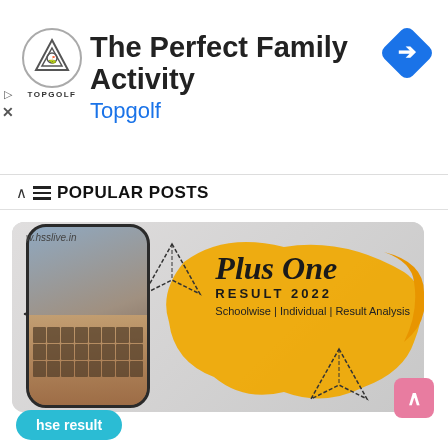[Figure (screenshot): Topgolf advertisement banner with logo, 'The Perfect Family Activity' headline, 'Topgolf' subtext in blue, and a blue navigation arrow icon on the right]
POPULAR POSTS
[Figure (photo): Promotional image card for 'Plus One RESULT 2022 - Schoolwise | Individual | Result Analysis' from w.hsslive.in, featuring a smartphone mockup with a person typing on a laptop, against a gray textured background with a yellow paint-brush splash and paper plane decorations]
hse result